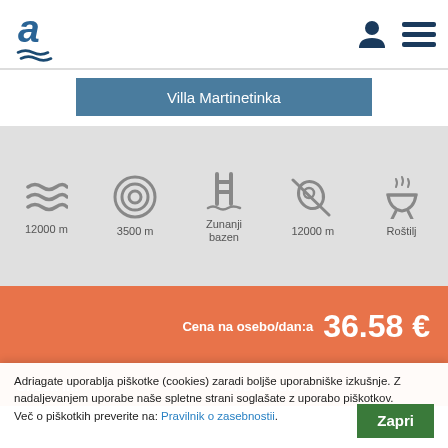Adriagate logo, user icon, menu icon
Villa Martinetinka
[Figure (infographic): Five amenity icons with labels: 12000 m (sea waves), 3500 m (target/bullseye), Zunanji bazen (pool ladder), 12000 m (scuba/diving), Roštilj (grill)]
Cena na osebo/dan:a  36.58 €
Check in:   Check out:
Adriagate uporablja piškotke (cookies) zaradi boljše uporabniške izkušnje. Z nadaljevanjem uporabe naše spletne strani soglašate z uporabo piškotkov. Več o piškotkih preverite na: Pravilnik o zasebnostii.   Zapri